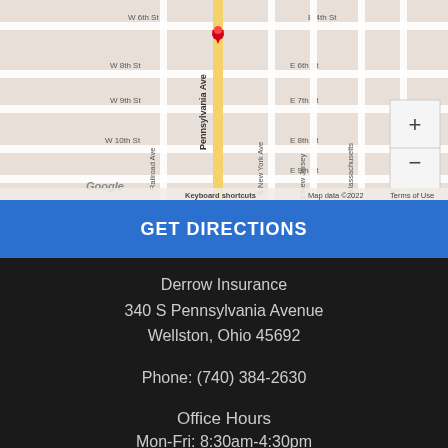[Figure (map): Google Maps street map showing the area around 340 S Pennsylvania Avenue, Wellston, Ohio 45692. A red location pin marks the spot on Pennsylvania Ave. Streets visible include W 6th St, W 8th St, W 9th St, W 10th St, Railroad Ave, E 4th St, E 6th St, E 7th St, E 8th St, E 9th St, S New York Ave, S New Jersey Ave, S Massachusetts Ave, S Connecticut Ave. Map data copyright 2022. Zoom in/out buttons visible. Google logo in lower left. 'Keyboard shortcuts', 'Map data ©2022', 'Terms of Use' text at bottom.]
GET DIRECTIONS
Derrow Insurance
340 S Pennsylvania Avenue
Wellston, Ohio 45692
Phone: (740) 384-2630
Office Hours
Mon-Fri: 8:30am-4:30pm